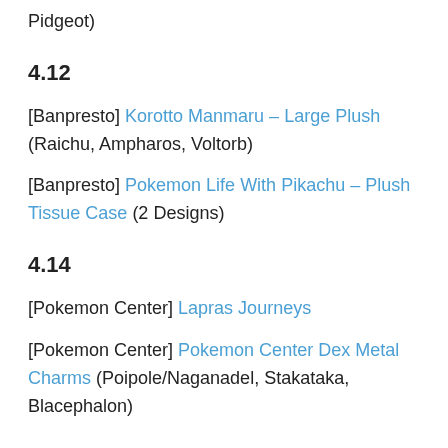Pidgeot)
4.12
[Banpresto] Korotto Manmaru – Large Plush (Raichu, Ampharos, Voltorb)
[Banpresto] Pokemon Life With Pikachu – Plush Tissue Case (2 Designs)
4.14
[Pokemon Center] Lapras Journeys
[Pokemon Center] Pokemon Center Dex Metal Charms (Poipole/Naganadel, Stakataka, Blacephalon)